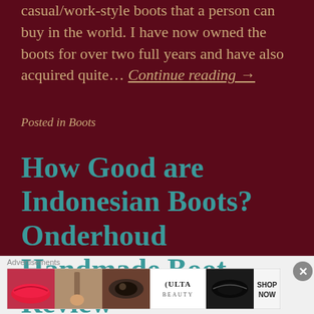casual/work-style boots that a person can buy in the world. I have now owned the boots for over two full years and have also acquired quite… Continue reading →
Posted in Boots
How Good are Indonesian Boots? Onderhoud Handmade Boot Review
[Figure (other): Advertisement banner showing makeup/beauty products with ULTA Beauty logo and SHOP NOW call to action]